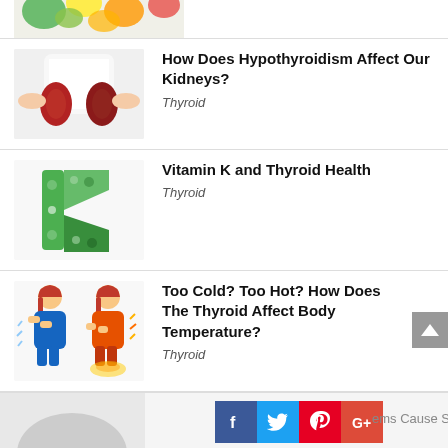[Figure (photo): Partial view of colorful fruits and vegetables at top of page]
[Figure (photo): Person holding two kidney organs]
How Does Hypothyroidism Affect Our Kidneys?
Thyroid
[Figure (photo): Letter K made from green leafy vegetables]
Vitamin K and Thyroid Health
Thyroid
[Figure (photo): Two cartoon women, one shivering in cold (blue) and one hot (orange/red), illustrating body temperature extremes]
Too Cold? Too Hot? How Does The Thyroid Affect Body Temperature?
Thyroid
[Figure (photo): Partial bottom image, social sharing buttons (Facebook, Twitter, Pinterest, Google+) and partial text reading 'ems Cause Skin']